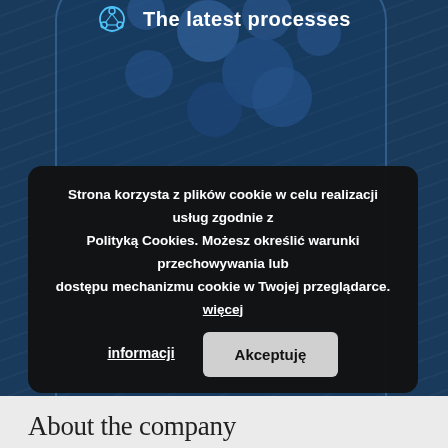[Figure (screenshot): Website screenshot showing a dark blue textured background with a rounded card containing circular/pill-shaped decorative elements, a cookie consent banner overlay in dark/black, and an 'About the company' heading at the bottom.]
The latest processes
Strona korzysta z plików cookie w celu realizacji usług zgodnie z Polityką Cookies. Możesz określić warunki przechowywania lub dostępu mechanizmu cookie w Twojej przeglądarce. więcej informacji
Akceptuję
About the company